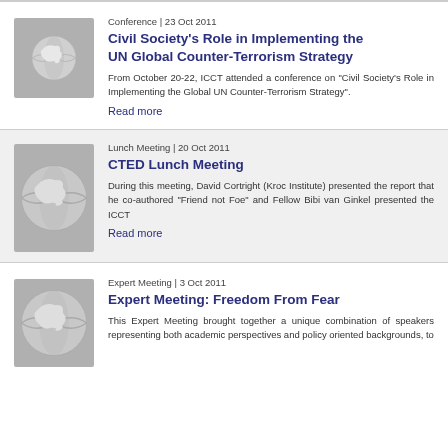Conference | 23 Oct 2011
Civil Society's Role in Implementing the UN Global Counter-Terrorism Strategy
From October 20-22, ICCT attended a conference on "Civil Society's Role in Implementing the Global UN Counter-Terrorism Strategy".
Read more
Lunch Meeting | 20 Oct 2011
CTED Lunch Meeting
During this meeting, David Cortright (Kroc Institute) presented the report that he co-authored "Friend not Foe" and Fellow Bibi van Ginkel presented the ICCT
Read more
Expert Meeting | 3 Oct 2011
Expert Meeting: Freedom From Fear
This Expert Meeting brought together a unique combination of speakers representing both academic perspectives and policy oriented backgrounds, to